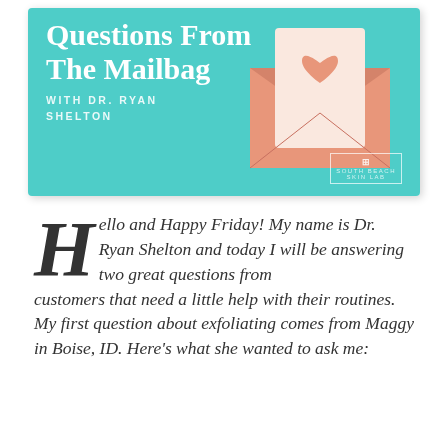[Figure (illustration): Banner image with teal/turquoise background showing 'Questions From The Mailbag With Dr. Ryan Shelton' text, an illustrated envelope with a heart, and South Beach Skin Lab logo in bottom right corner.]
Hello and Happy Friday! My name is Dr. Ryan Shelton and today I will be answering two great questions from customers that need a little help with their routines. My first question about exfoliating comes from Maggy in Boise, ID. Here's what she wanted to ask me: